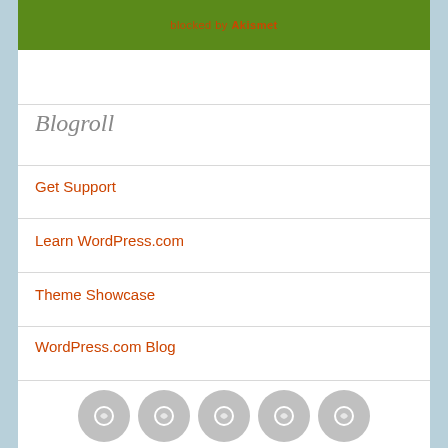[Figure (other): Green banner with text 'blocked by Akismet' in red/orange]
Blogroll
Get Support
Learn WordPress.com
Theme Showcase
WordPress.com Blog
[Figure (other): Five circular grey social/link icons in a row at the bottom]